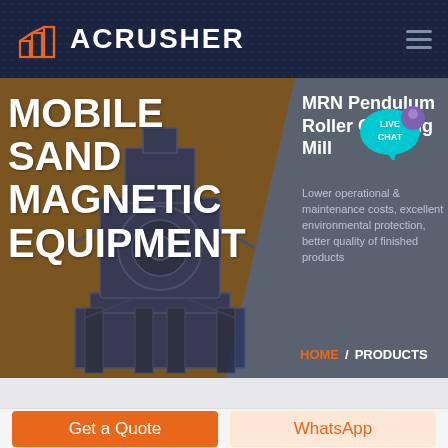ACRUSHER
[Figure (screenshot): Website screenshot showing ACRUSHER brand header with orange building logo, navigation hamburger menu, hero banner with 'MOBILE SAND MAGNETIC EQUIPMENT' text overlay on brown background with industrial machine image, right panel showing 'MRN Pendulum Roller Grinding Mill' product info on gray-blue background, HOME / PRODUCTS breadcrumb, LIVE CHAT bubble, and bottom buttons for Get a Quote and WhatsApp]
MOBILE SAND MAGNETIC EQUIPMENT
MRN Pendulum Roller Grinding Mill
Lower operational & maintenance costs, excellent environmental protection, better quality of finished products
HOME / PRODUCTS
Get a Quote
WhatsApp